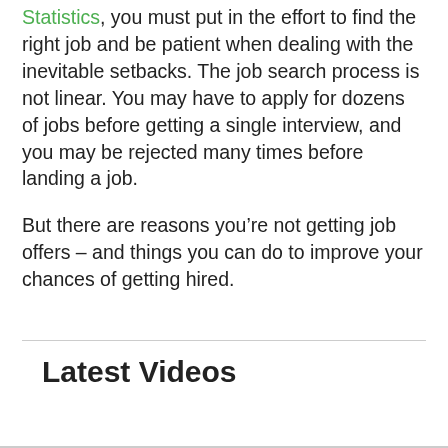Statistics, you must put in the effort to find the right job and be patient when dealing with the inevitable setbacks. The job search process is not linear. You may have to apply for dozens of jobs before getting a single interview, and you may be rejected many times before landing a job.
But there are reasons you’re not getting job offers – and things you can do to improve your chances of getting hired.
Latest Videos